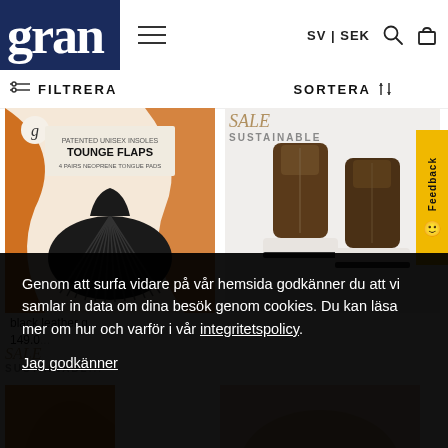gran  ≡  SV | SEK 🔍 🛍
≡ FILTRERA    SORTERA ↑↓
[Figure (photo): Product image: black rubber tounge flaps insole accessory in orange packaging labeled TOUNGE FLAPS]
[Figure (photo): SALE SUSTAINABLE label with brown suede platform ankle boots on white background]
black leather g...   149.0...
SALE
SUSTAINABL...
[Figure (photo): Yellow/orange boot visible at bottom left]
Genom att surfa vidare på vår hemsida godkänner du att vi samlar in data om dina besök genom cookies. Du kan läsa mer om hur och varför i vår integritetspolicy.

Jag godkänner